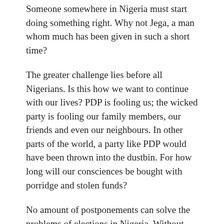Someone somewhere in Nigeria must start doing something right. Why not Jega, a man whom much has been given in such a short time?
The greater challenge lies before all Nigerians. Is this how we want to continue with our lives? PDP is fooling us; the wicked party is fooling our family members, our friends and even our neighbours. In other parts of the world, a party like PDP would have been thrown into the dustbin. For how long will our consciences be bought with porridge and stolen funds?
No amount of postponements can solve the problems of elections in Nigeria. Without radical electoral reforms and a voting system based on credible processes that are supported by forensic facts and figures, Nigerians